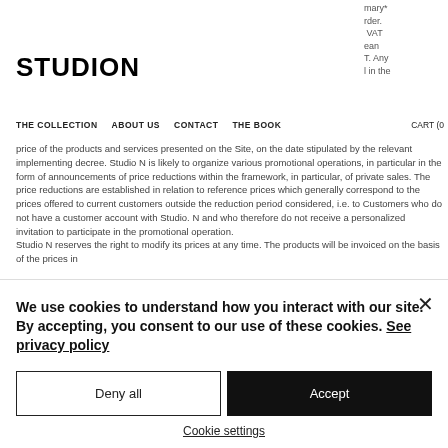mary* rder. VAT ean T. Any l in the
STUDION
THE COLLECTION   ABOUT US   CONTACT   THE BOOK   CART (0
price of the products and services presented on the Site, on the date stipulated by the relevant implementing decree. Studio N is likely to organize various promotional operations, in particular in the form of announcements of price reductions within the framework, in particular, of private sales. The price reductions are established in relation to reference prices which generally correspond to the prices offered to current customers outside the reduction period considered, i.e. to Customers who do not have a customer account with Studio. N and who therefore do not receive a personalized invitation to participate in the promotional operation.
Studio N reserves the right to modify its prices at any time. The products will be invoiced on the basis of the prices in
We use cookies to understand how you interact with our site. By accepting, you consent to our use of these cookies. See privacy policy
Deny all
Accept
Cookie settings